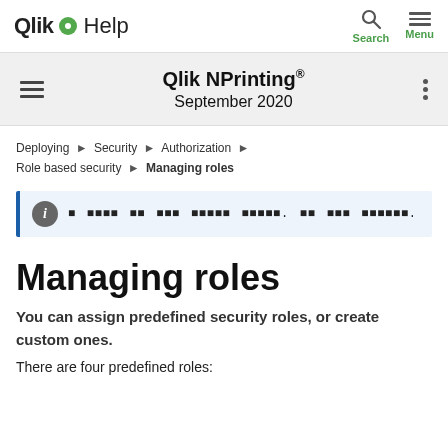Qlik Help — Search — Menu
Qlik NPrinting® September 2020
Deploying ▶ Security ▶ Authorization ▶ Role based security ▶ Managing roles
[info box with encoded text]
Managing roles
You can assign predefined security roles, or create custom ones.
There are four predefined roles: